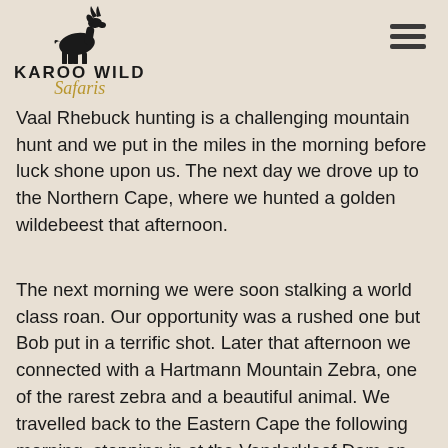[Figure (logo): Karoo Wild Safaris logo with an antelope silhouette above the text 'Karoo Wild Safaris' in black and gold]
Vaal Rhebuck hunting is a challenging mountain hunt and we put in the miles in the morning before luck shone upon us. The next day we drove up to the Northern Cape, where we hunted a golden wildebeest that afternoon.
The next morning we were soon stalking a world class roan. Our opportunity was a rushed one but Bob put in a terrific shot. Later that afternoon we connected with a Hartmann Mountain Zebra, one of the rarest zebra and a beautiful animal. We travelled back to the Eastern Cape the following morning, stopping in at the Vanderkloof Dam on the Orange River.